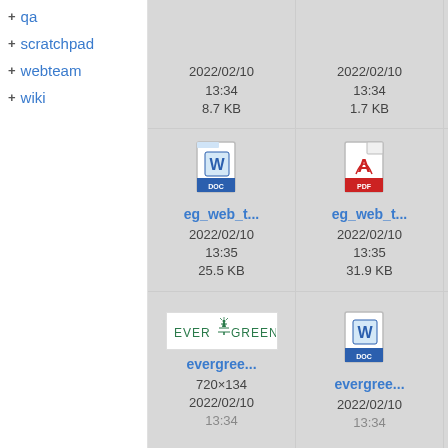+ qa
+ scratchpad
+ webteam
+ wiki
[Figure (screenshot): File grid showing document thumbnails. Row 1 (partial, top-cropped): two cells with date 2022/02/10 13:34, sizes 8.7 KB and 1.7 KB. Row 2: DOC icon file eg_web_t... 2022/02/10 13:35 25.5 KB; PDF icon file eg_web_t... 2022/02/10 13:35 31.9 KB; partial third cell. Row 3 (bottom): Evergreen logo image cell evergrее... 720x134 2022/02/10; DOC icon file evergrее... 2022/02/10; partial third cell.]